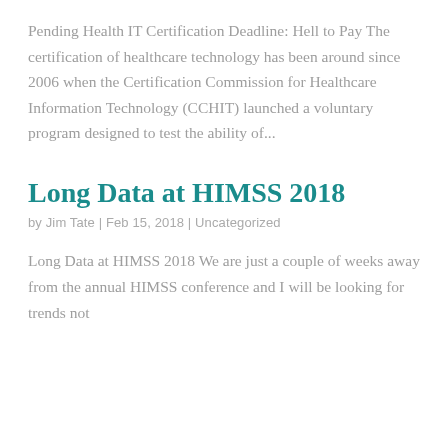Pending Health IT Certification Deadline: Hell to Pay The certification of healthcare technology has been around since 2006 when the Certification Commission for Healthcare Information Technology (CCHIT) launched a voluntary program designed to test the ability of...
Long Data at HIMSS 2018
by Jim Tate | Feb 15, 2018 | Uncategorized
Long Data at HIMSS 2018 We are just a couple of weeks away from the annual HIMSS conference and I will be looking for trends not